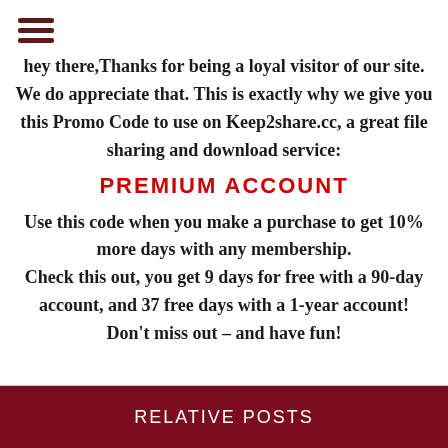[Figure (other): Hamburger menu icon — three horizontal dark red lines]
hey there,Thanks for being a loyal visitor of our site. We do appreciate that. This is exactly why we give you this Promo Code to use on Keep2share.cc, a great file sharing and download service:
PREMIUM ACCOUNT
Use this code when you make a purchase to get 10% more days with any membership. Check this out, you get 9 days for free with a 90-day account, and 37 free days with a 1-year account! Don't miss out – and have fun!
RELATIVE POSTS